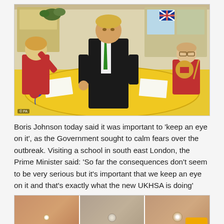[Figure (photo): Boris Johnson sitting at a yellow round table with two young children in red school uniforms in a classroom. Pencil holders and school decorations visible on the table. A Union Jack flag is visible in the background.]
Boris Johnson today said it was important to 'keep an eye on it', as the Government sought to calm fears over the outbreak. Visiting a school in south east London, the Prime Minister said: 'So far the consequences don't seem to be very serious but it's important that we keep an eye on it and that's exactly what the new UKHSA is doing'
[Figure (photo): Three close-up medical photos showing skin lesions/blisters, likely monkeypox symptoms, on human skin.]